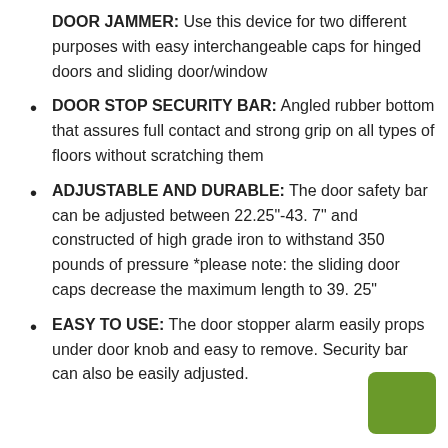DOOR JAMMER: Use this device for two different purposes with easy interchangeable caps for hinged doors and sliding door/window
DOOR STOP SECURITY BAR: Angled rubber bottom that assures full contact and strong grip on all types of floors without scratching them
ADJUSTABLE AND DURABLE: The door safety bar can be adjusted between 22.25"-43. 7" and constructed of high grade iron to withstand 350 pounds of pressure *please note: the sliding door caps decrease the maximum length to 39. 25"
EASY TO USE: The door stopper alarm easily props under door knob and easy to remove. Security bar can also be easily adjusted.